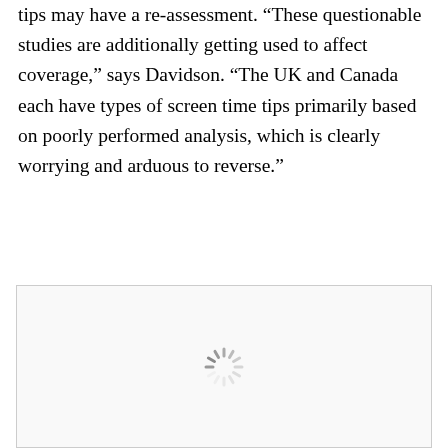tips may have a re-assessment. “These questionable studies are additionally getting used to affect coverage,” says Davidson. “The UK and Canada each have types of screen time tips primarily based on poorly performed analysis, which is clearly worrying and arduous to reverse.”
[Figure (other): A loading spinner icon (circular dashed wheel) inside a bordered rectangular box, indicating an image that is still loading.]